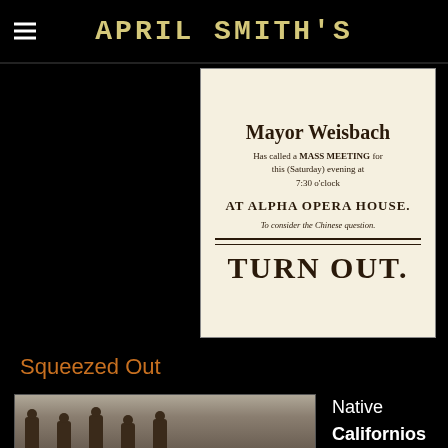APRIL SMITH'S
[Figure (photo): Historical flyer reading: Mayor Weisbach Has called a MASS MEETING for this (Saturday) evening at 7:30 o'clock AT ALPHA OPERA HOUSE. To consider the Chinese question. TURN OUT.]
Squeezed Out
[Figure (photo): Black and white historical photograph of a group of people standing outdoors in a desert or arid landscape.]
Native Californios